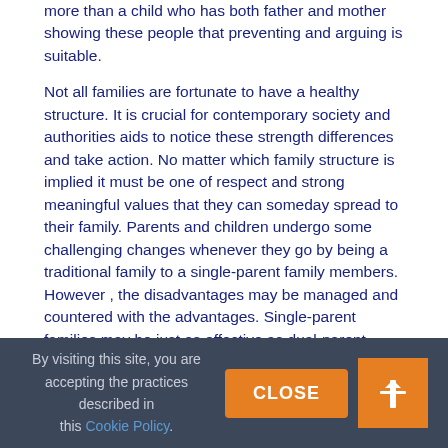more than a child who has both father and mother showing these people that preventing and arguing is suitable.
Not all families are fortunate to have a healthy structure. It is crucial for contemporary society and authorities aids to notice these strength differences and take action. No matter which family structure is implied it must be one of respect and strong meaningful values that they can someday spread to their family. Parents and children undergo some challenging changes whenever they go by being a traditional family to a single-parent family members. However , the disadvantages may be managed and countered with the advantages. Single-parent families may be just as effective as dual-parent families, it may just need a little more job.
Tweet
[Figure (other): Pin it button with red cursive text]
By visiting this site, you are accepting the practices described in this Cookie Policy. [CLOSE button] [Home icon button]